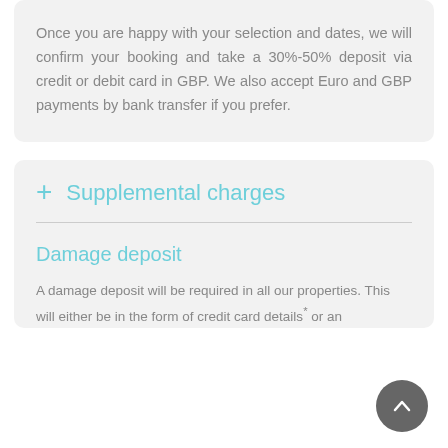Once you are happy with your selection and dates, we will confirm your booking and take a 30%-50% deposit via credit or debit card in GBP. We also accept Euro and GBP payments by bank transfer if you prefer.
+ Supplemental charges
Damage deposit
A damage deposit will be required in all our properties. This will either be in the form of credit card details* or an